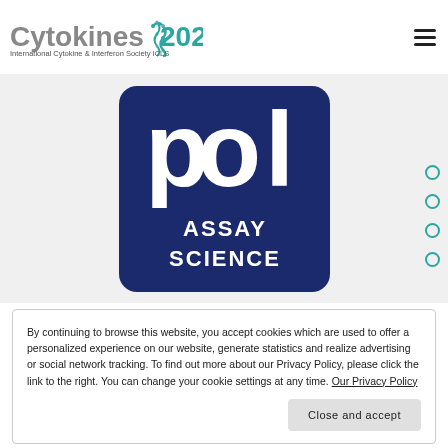[Figure (logo): Cytokines 2020 - International Cytokine & Interferon Society ICLS logo in header]
[Figure (logo): pol Assay Science sponsor logo - dark blue square with white letters 'pol' and text 'ASSAY SCIENCE']
By continuing to browse this website, you accept cookies which are used to offer a personalized experience on our website, generate statistics and realize advertising or social network tracking. To find out more about our Privacy Policy, please click the link to the right. You can change your cookie settings at any time. Our Privacy Policy
Close and accept